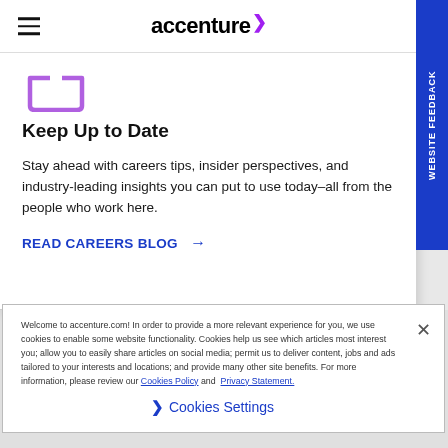accenture
[Figure (illustration): Purple U-shape icon (inbox/tray icon)]
Keep Up to Date
Stay ahead with careers tips, insider perspectives, and industry-leading insights you can put to use today–all from the people who work here.
READ CAREERS BLOG →
Welcome to accenture.com! In order to provide a more relevant experience for you, we use cookies to enable some website functionality. Cookies help us see which articles most interest you; allow you to easily share articles on social media; permit us to deliver content, jobs and ads tailored to your interests and locations; and provide many other site benefits. For more information, please review our Cookies Policy and Privacy Statement.
❯ Cookies Settings